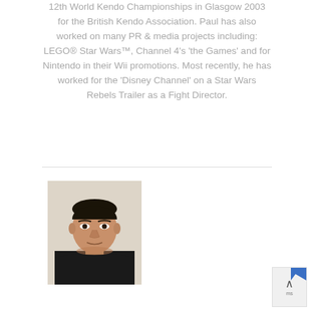12th World Kendo Championships in Glasgow 2003 for the British Kendo Association. Paul has also worked on many PR & media projects including: LEGO® Star Wars™, Channel 4's 'the Games' and for Nintendo in their Wii promotions. Most recently, he has worked for the 'Disney Channel' on a Star Wars Rebels Trailer as a Fight Director.
[Figure (photo): Headshot of an Asian man wearing a black garment, against a light beige/cream background]